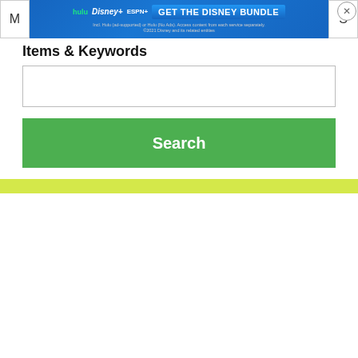[Figure (screenshot): Top navigation bar with M and S labels on left and right, and a Disney Bundle advertisement banner in the center showing Hulu, Disney+, ESPN+ logos with 'GET THE DISNEY BUNDLE' call to action. Includes subtitle: 'Incl. Hulu (ad-supported) or Hulu (No Ads). Access content from each service separately. ©2021 Disney and its related entities'. Close button (X) in top right corner.]
Items & Keywords
[Figure (screenshot): Empty search input text box]
[Figure (screenshot): Green Search button]
[Figure (screenshot): Yellow-green horizontal bar]